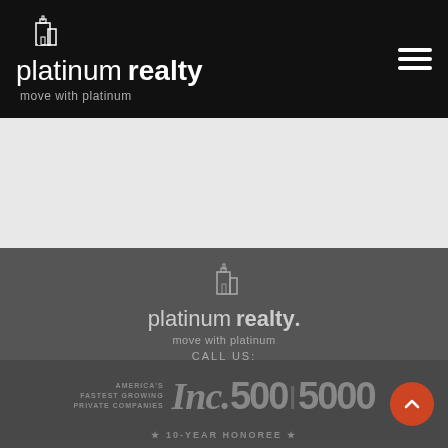[Figure (logo): Platinum Realty logo with building icon, white text on black background, tagline: move with platinum]
[Figure (logo): Hamburger menu icon (three horizontal white lines) in top right of black header bar]
[Figure (logo): Platinum Realty footer logo with building icon, gray text on dark gray background, tagline: move with platinum]
CALL US:
888.220.0986
FOLLOW US ON:
[Figure (illustration): Facebook and Twitter social media icons in white]
[Figure (logo): Inc. 500/5000 badge with text: AMERICA'S FASTEST GROWING PRIVATE COMPANIES and 10-YEAR HONOREE]